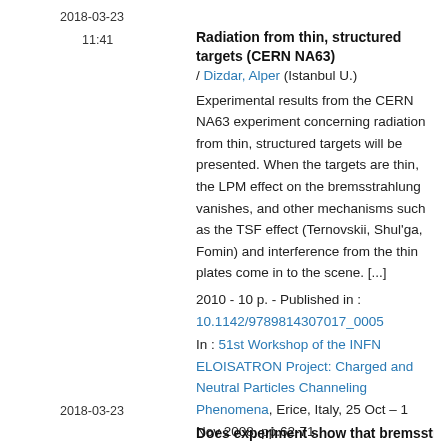2018-03-23
11:41
Radiation from thin, structured targets (CERN NA63) / Dizdar, Alper (Istanbul U.)
Experimental results from the CERN NA63 experiment concerning radiation from thin, structured targets will be presented. When the targets are thin, the LPM effect on the bremsstrahlung vanishes, and other mechanisms such as the TSF effect (Ternovskii, Shul'ga, Fomin) and interference from the thin plates come in to the scene. [...]
2010 - 10 p. - Published in :
10.1142/9789814307017_0005
In : 51st Workshop of the INFN ELOISATRON Project: Charged and Neutral Particles Channeling Phenomena, Erice, Italy, 25 Oct – 1 Nov 2008, pp.62-71
Úplný záznam - Podobné záznamy
2018-03-23
Does experiment show that bremsstrahlung theory